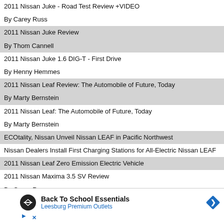2011 Nissan Juke - Road Test Review +VIDEO
By Carey Russ
2011 Nissan Juke Review
By Thom Cannell
2011 Nissan Juke 1.6 DIG-T - First Drive
By Henny Hemmes
2011 Nissan Leaf Review: The Automobile of Future, Today
By Marty Bernstein
2011 Nissan Leaf: The Automobile of Future, Today
By Marty Bernstein
ECOtality, Nissan Unveil Nissan LEAF in Pacific Northwest
Nissan Dealers Install First Charging Stations for All-Electric Nissan LEAF
2011 Nissan Leaf Zero Emission Electric Vehicle
2011 Nissan Maxima 3.5 SV Review
By Carey Russ
2011 Nissan Maxima Review
By Mark Fulmer
2011 Nissan Murano Cross Cabriolet Review and Road Test
By John Helig
[Figure (infographic): Advertisement: Back To School Essentials - Leesburg Premium Outlets with logo and navigation arrow icon]